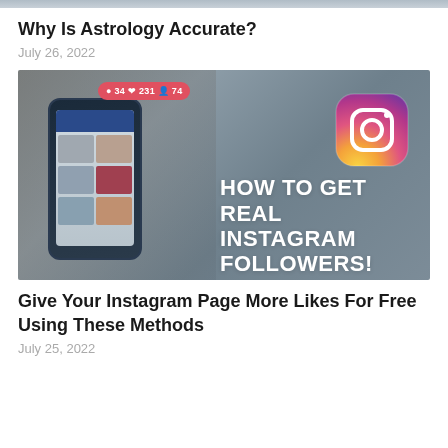[Figure (photo): Partial top image strip cropped at top of page]
Why Is Astrology Accurate?
July 26, 2022
[Figure (photo): Instagram promotional image showing a hand holding a smartphone with Instagram notifications (34 messages, 231 likes, 74 followers) and the Instagram logo on the right with text 'HOW TO GET REAL INSTAGRAM FOLLOWERS!']
Give Your Instagram Page More Likes For Free Using These Methods
July 25, 2022